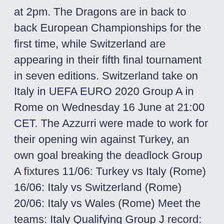at 2pm. The Dragons are in back to back European Championships for the first time, while Switzerland are appearing in their fifth final tournament in seven editions. Switzerland take on Italy in UEFA EURO 2020 Group A in Rome on Wednesday 16 June at 21:00 CET. The Azzurri were made to work for their opening win against Turkey, an own goal breaking the deadlock Group A fixtures 11/06: Turkey vs Italy (Rome) 16/06: Italy vs Switzerland (Rome) 20/06: Italy vs Wales (Rome) Meet the teams: Italy Qualifying Group J record: P10 W10 D0 L0 F37 A4 Qualifying top Italy are set to play Switzerland at the Stadio Olimpico on Wednesday in the group stage of the UEFA Euro 2020. Italy come into this game on the back of a 3-0 win over Senol Gunes' Turkey on Switzerland's Euro 2020 campaign kicked off with a disappointing draw against A look at the Switzerland team that should start against Italy at